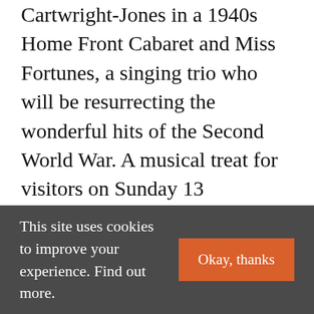Cartwright-Jones in a 1940s Home Front Cabaret and Miss Fortunes, a singing trio who will be resurrecting the wonderful hits of the Second World War. A musical treat for visitors on Sunday 13 September will be a performance from the Glebe Symphonic Winds Orchestra. The performance will include many well-known favourites such as the Dambusters March, Barnes Wallis March and RAF
This site uses cookies to improve your experience. Find out more.
Okay, thanks